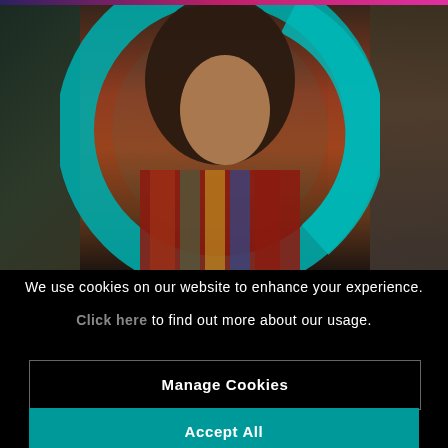[Figure (photo): Photo of a woman with curly hair wearing a colorful red/multicolored sweater in a dark outdoor forest setting, with a teal circular logo overlay on top]
We use cookies on our website to enhance your experience.
Click here to find out more about our usage.
Manage Cookies
Accept All